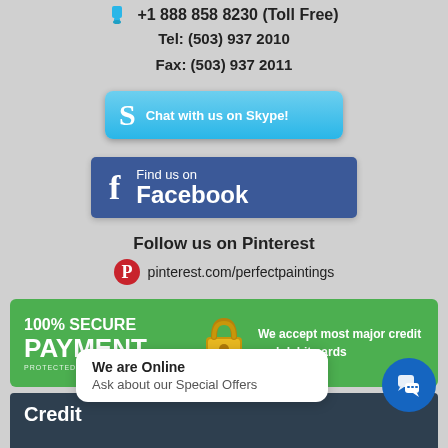+1 888 858 8230 (Toll Free)
Tel: (503) 937 2010
Fax: (503) 937 2011
[Figure (other): Skype button: Chat with us on Skype!]
[Figure (other): Facebook button: Find us on Facebook]
Follow us on Pinterest
pinterest.com/perfectpaintings
[Figure (other): 100% SECURE PAYMENT - PROTECTED BY SSL ENCRYPTION - We accept most major credit and debit cards]
[Figure (other): Credit card section partial]
We are Online
Ask about our Special Offers